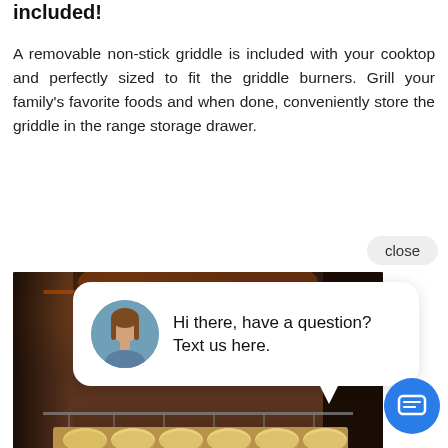included!
A removable non-stick griddle is included with your cooktop and perfectly sized to fit the griddle burners. Grill your family's favorite foods and when done, conveniently store the griddle in the range storage drawer.
[Figure (screenshot): Screenshot showing an oven interior with cookies on a baking tray, overlaid with a chat widget popup. The popup shows a woman's avatar and the text 'Hi there, have a question? Text us here.' with a close button and a blue chat icon button.]